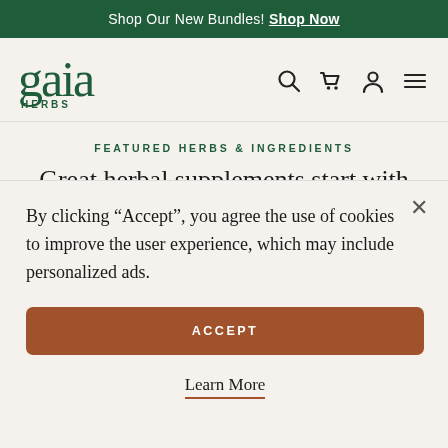Shop Our New Bundles! Shop Now
[Figure (logo): Gaia Herbs logo with stylized lowercase 'gaia' and 'HERBS' text in dark green]
FEATURED HERBS & INGREDIENTS
Great herbal supplements start with
By clicking “Accept”, you agree the use of cookies to improve the user experience, which may include personalized ads.
ACCEPT
Learn More